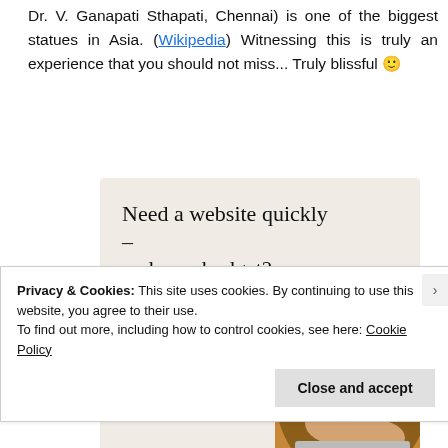Dr. V. Ganapati Sthapati, Chennai) is one of the biggest statues in Asia. (Wikipedia) Witnessing this is truly an experience that you should not miss... Truly blissful 🙂
[Figure (illustration): Advertisement banner with beige background. Headline: 'Need a website quickly – and on a budget?' Subtext: 'Let us build it for you'. Button: 'Let's get started'. Circular image of person typing on a laptop on the right side.]
Privacy & Cookies: This site uses cookies. By continuing to use this website, you agree to their use.
To find out more, including how to control cookies, see here: Cookie Policy
Close and accept